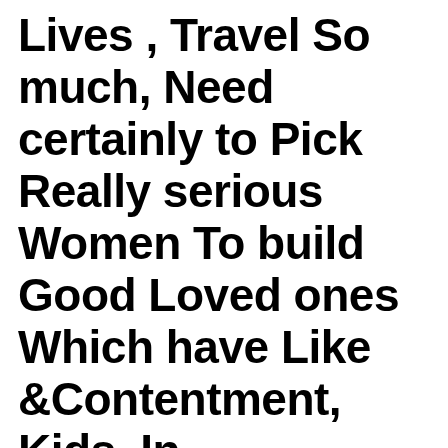Lives , Travel So much, Need certainly to Pick Really serious Women To build Good Loved ones Which have Like &Contentment, Kids, In conjunction Share The whole Lives Along with her, Alive Under some pressure, Bring Obligations Wh...